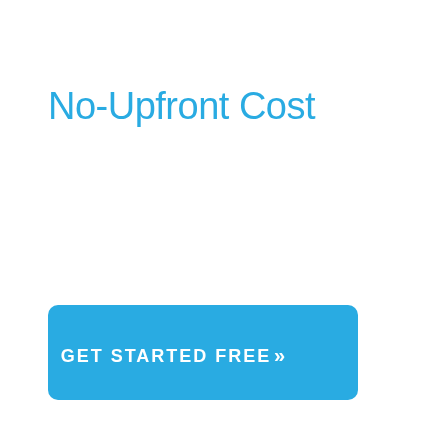No-Upfront Cost
[Figure (other): Blue rounded rectangle button with white text 'GET STARTED FREE' and double chevron arrows >>]